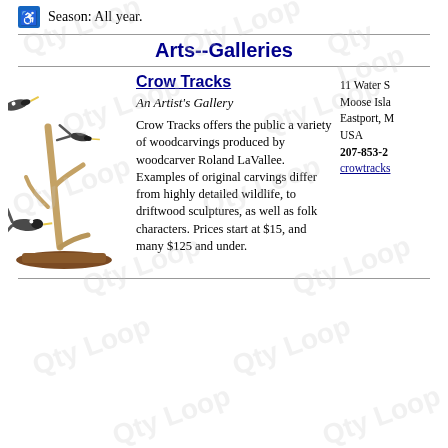Season: All year.
Arts--Galleries
[Figure (photo): Wood carving sculpture of birds (likely ducks/shorebirds) on driftwood branches mounted on a wooden base by Roland LaVallee.]
Crow Tracks
An Artist's Gallery
Crow Tracks offers the public a variety of woodcarvings produced by woodcarver Roland LaVallee. Examples of original carvings differ from highly detailed wildlife, to driftwood sculptures, as well as folk characters. Prices start at $15, and many $125 and under.
11 Water S...
Moose Isla...
Eastport, M...
USA
207-853-2...
crowtracks...